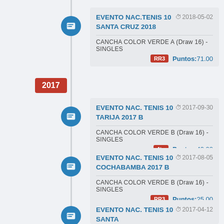[Figure (other): Timeline vertical line with circle icons and year badge]
EVENTO NAC.TENIS 10 SANTA CRUZ 2018
2018-05-02
CANCHA COLOR VERDE A (Draw 16) - SINGLES
RR3  Puntos: 71.00
2017
EVENTO NAC. TENIS 10 TARIJA 2017 B
2017-09-30
CANCHA COLOR VERDE B (Draw 16) - SINGLES
4to  Puntos: 49.00
EVENTO NAC. TENIS 10 COCHABAMBA 2017 B
2017-08-05
CANCHA COLOR VERDE B (Draw 16) - SINGLES
RR3  Puntos: 25.00
EVENTO NAC. TENIS 10 SANTA
2017-04-12